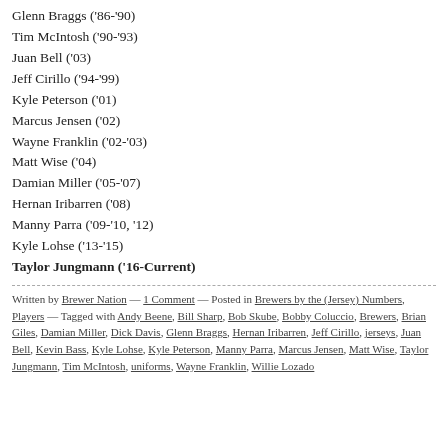Glenn Braggs ('86-'90)
Tim McIntosh ('90-'93)
Juan Bell ('03)
Jeff Cirillo ('94-'99)
Kyle Peterson ('01)
Marcus Jensen ('02)
Wayne Franklin ('02-'03)
Matt Wise ('04)
Damian Miller ('05-'07)
Hernan Iribarren ('08)
Manny Parra ('09-'10, '12)
Kyle Lohse ('13-'15)
Taylor Jungmann ('16-Current)
Written by Brewer Nation — 1 Comment — Posted in Brewers by the (Jersey) Numbers, Players — Tagged with Andy Beene, Bill Sharp, Bob Skube, Bobby Coluccio, Brewers, Brian Giles, Damian Miller, Dick Davis, Glenn Braggs, Hernan Iribarren, Jeff Cirillo, jerseys, Juan Bell, Kevin Bass, Kyle Lohse, Kyle Peterson, Manny Parra, Marcus Jensen, Matt Wise, Taylor Jungmann, Tim McIntosh, uniforms, Wayne Franklin, Willie Lozado